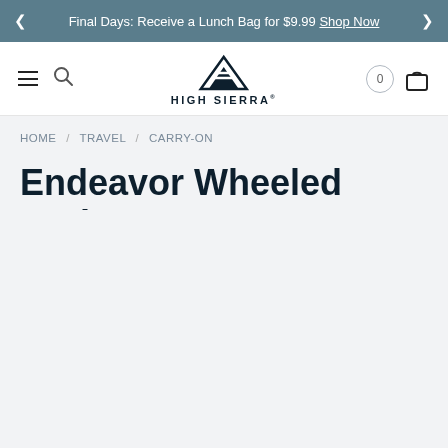Final Days: Receive a Lunch Bag for $9.99 Shop Now
[Figure (logo): High Sierra logo with mountain graphic and brand name]
HOME / TRAVEL / CARRY-ON
Endeavor Wheeled Underseat Carry-On